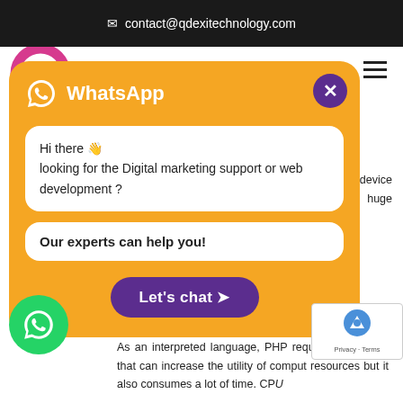contact@qdexitechnology.com
[Figure (screenshot): WhatsApp chat popup widget on a website with orange background, showing greeting message, helper message, and Let's chat button. A floating WhatsApp green button is visible at bottom left. Background shows partial website text about PHP.]
Hi there 👋 looking for the Digital marketing support or web development ?
Our experts can help you!
As an interpreted language, PHP requires interpreter that can increase the utility of computer resources but it also consumes a lot of time. CPU